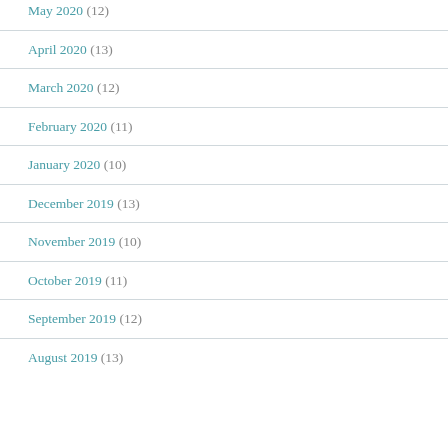May 2020 (12)
April 2020 (13)
March 2020 (12)
February 2020 (11)
January 2020 (10)
December 2019 (13)
November 2019 (10)
October 2019 (11)
September 2019 (12)
August 2019 (13)